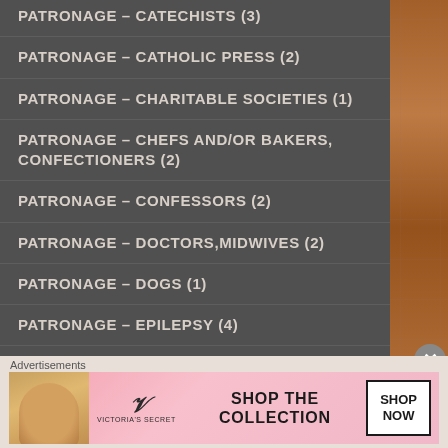PATRONAGE – CATECHISTS (3)
PATRONAGE – CATHOLIC PRESS (2)
PATRONAGE – CHARITABLE SOCIETIES (1)
PATRONAGE – CHEFS and/or BAKERS, CONFECTIONERS (2)
PATRONAGE – CONFESSORS (2)
PATRONAGE – DOCTORS, MIDWIVES (2)
PATRONAGE – DOGS (1)
PATRONAGE – EPILEPSY (4)
PATRONAGE – EYES (15)
PATRONAGE – FAMINE (1)
PATRONAGE – GARDENERS, FARMERS (3)
Advertisements
[Figure (photo): Victoria's Secret advertisement banner showing a woman's face and the text 'SHOP THE COLLECTION' with a 'SHOP NOW' button]